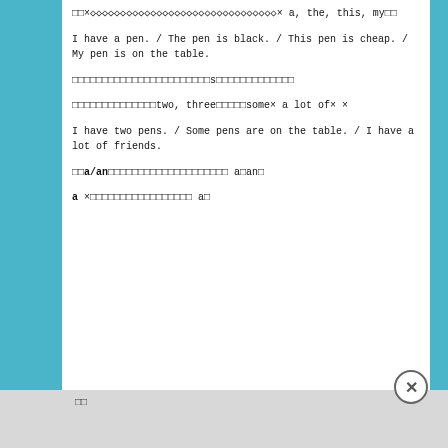□□×◇◇◇◇◇◇◇◇◇◇◇◇◇◇◇◇◇◇◇◇◇◇◇◇◇◇◇◇◇◇◇× a, the, this, my□□
I have a pen.  / The pen is black. / This pen is cheap. / My pen is on the table.
□□□□□□□□□□□□□□□□□□□□□□□s□□□□□□□□□□□□□
□□□□□□□□□□□□□□two, three□□□□□some× a lot of×  ×
I have two pens. / Some pens are on the table. / I have a lot of friends.
□□a/an□□□□□□□□□□□□□□□□□□□□ a□an□
a ×□□□□□□□□□□□□□□□□□ a□
□□